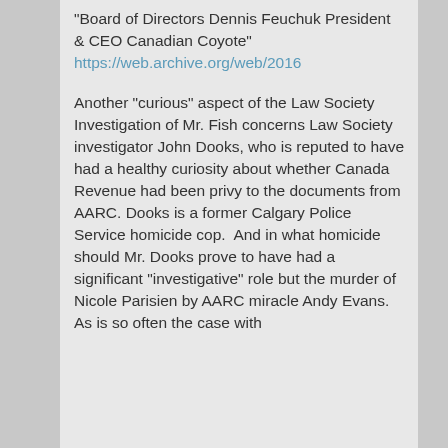"Board of Directors Dennis Feuchuk President & CEO Canadian Coyote" https://web.archive.org/web/2016

Another "curious" aspect of the Law Society Investigation of Mr. Fish concerns Law Society investigator John Dooks, who is reputed to have had a healthy curiosity about whether Canada Revenue had been privy to the documents from AARC. Dooks is a former Calgary Police Service homicide cop.  And in what homicide should Mr. Dooks prove to have had a significant "investigative" role but the murder of Nicole Parisien by AARC miracle Andy Evans. As is so often the case with